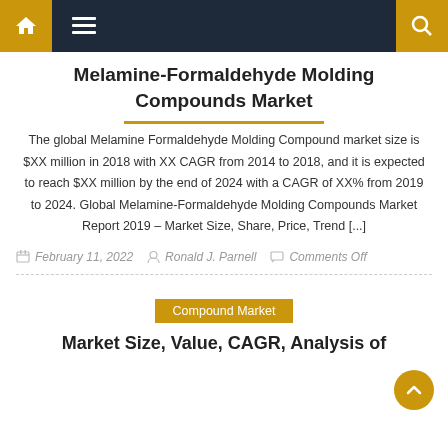Navigation bar with home, menu, and search icons
Melamine-Formaldehyde Molding Compounds Market
The global Melamine Formaldehyde Molding Compound market size is $XX million in 2018 with XX CAGR from 2014 to 2018, and it is expected to reach $XX million by the end of 2024 with a CAGR of XX% from 2019 to 2024. Global Melamine-Formaldehyde Molding Compounds Market Report 2019 – Market Size, Share, Price, Trend [...]
February 11, 2022   Ronald J. Parnell   Comments Off
Compound Market
Market Size, Value, CAGR, Analysis of